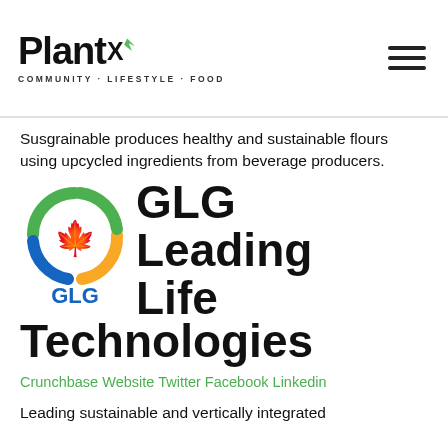PlantX COMMUNITY · LIFESTYLE · FOOD
Susgrainable produces healthy and sustainable flours using upcycled ingredients from beverage producers.
[Figure (logo): GLG Leading Life Technologies logo: circular swirl in green, blue, and orange with a red maple leaf in the center, and 'GLG' in blue text below]
GLG Leading Life Technologies
Crunchbase Website Twitter Facebook Linkedin
Leading sustainable and vertically integrated